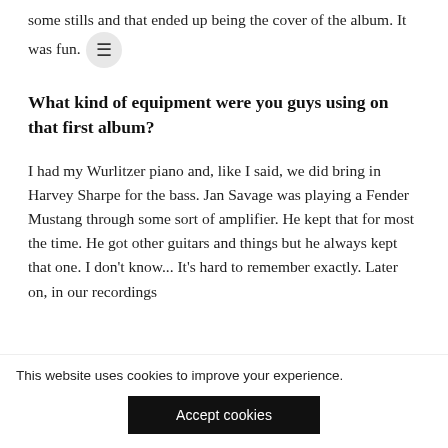some stills and that ended up being the cover of the album. It was fun.
What kind of equipment were you guys using on that first album?
I had my Wurlitzer piano and, like I said, we did bring in Harvey Sharpe for the bass. Jan Savage was playing a Fender Mustang through some sort of amplifier. He kept that for most the time. He got other guitars and things but he always kept that one. I don't know... It's hard to remember exactly. Later on, in our recordings
This website uses cookies to improve your experience.
Accept cookies